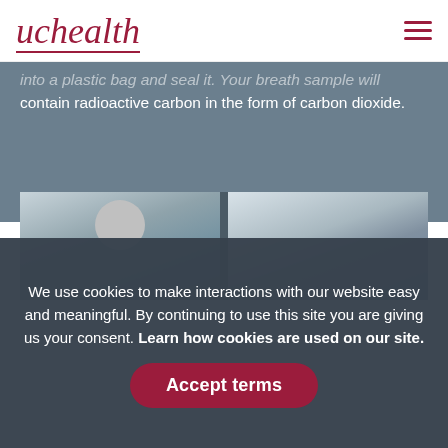uchealth
into a plastic bag and seal it. Your breath sample will contain radioactive carbon in the form of carbon dioxide.
[Figure (photo): Two side-by-side medical setting photos showing a patient and a healthcare provider, partially visible, blurred background.]
We use cookies to make interactions with our website easy and meaningful. By continuing to use this site you are giving us your consent. Learn how cookies are used on our site.
Accept terms